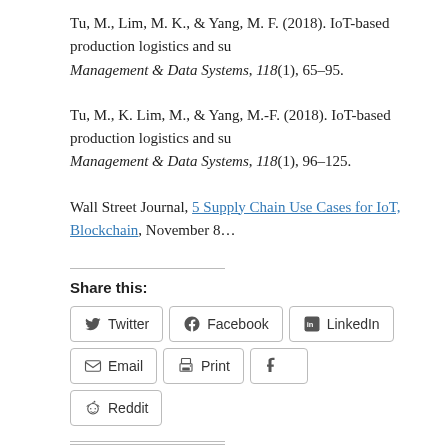Tu, M., Lim, M. K., & Yang, M. F. (2018). IoT-based production logistics and supply chain management & Data Systems, 118(1), 65–95.
Tu, M., K. Lim, M., & Yang, M.-F. (2018). IoT-based production logistics and supply chain management & Data Systems, 118(1), 96–125.
Wall Street Journal, 5 Supply Chain Use Cases for IoT, Blockchain, November 8…
Share this:
Twitter | Facebook | LinkedIn | Email | Print | Tumblr | Reddit
Like this:
Loading...